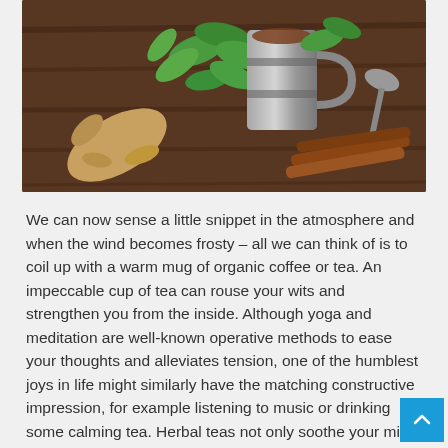[Figure (photo): Photo of herbal tea ingredients on a wooden surface: ginger root, fresh mint leaves, a metal mug with tea, cinnamon sticks, and a spoon.]
We can now sense a little snippet in the atmosphere and when the wind becomes frosty – all we can think of is to coil up with a warm mug of organic coffee or tea. An impeccable cup of tea can rouse your wits and strengthen you from the inside. Although yoga and meditation are well-known operative methods to ease your thoughts and alleviates tension, one of the humblest joys in life might similarly have the matching constructive impression, for example listening to music or drinking some calming tea. Herbal teas not only soothe your mind but also